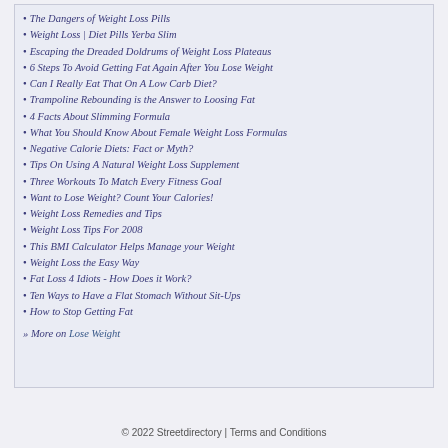The Dangers of Weight Loss Pills
Weight Loss | Diet Pills Yerba Slim
Escaping the Dreaded Doldrums of Weight Loss Plateaus
6 Steps To Avoid Getting Fat Again After You Lose Weight
Can I Really Eat That On A Low Carb Diet?
Trampoline Rebounding is the Answer to Loosing Fat
4 Facts About Slimming Formula
What You Should Know About Female Weight Loss Formulas
Negative Calorie Diets: Fact or Myth?
Tips On Using A Natural Weight Loss Supplement
Three Workouts To Match Every Fitness Goal
Want to Lose Weight? Count Your Calories!
Weight Loss Remedies and Tips
Weight Loss Tips For 2008
This BMI Calculator Helps Manage your Weight
Weight Loss the Easy Way
Fat Loss 4 Idiots - How Does it Work?
Ten Ways to Have a Flat Stomach Without Sit-Ups
How to Stop Getting Fat
» More on Lose Weight
© 2022 Streetdirectory | Terms and Conditions